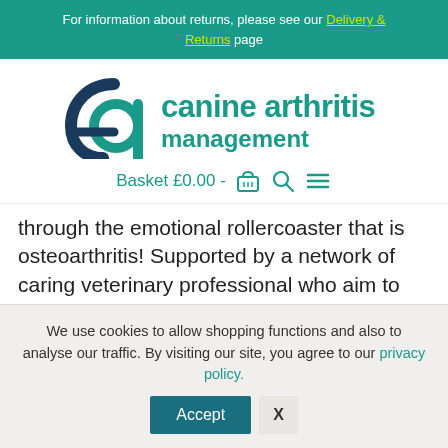For information about returns, please see our Delivery & Returns page
[Figure (logo): Canine Arthritis Management logo with teal icon and text]
Basket £0.00 -
through the emotional rollercoaster that is osteoarthritis! Supported by a network of caring veterinary professional who aim to use evidence based advice to guide you through this minefield. When your dog gets diagnosed [...]
We use cookies to allow shopping functions and also to analyse our traffic. By visiting our site, you agree to our privacy policy.